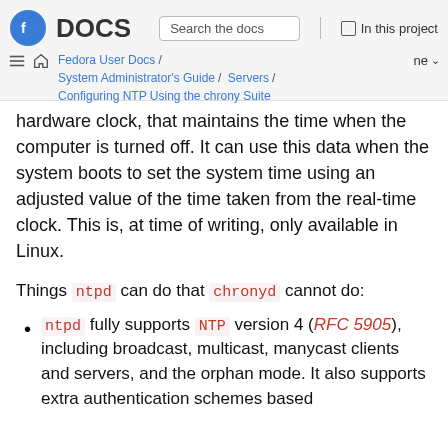Fedora DOCS | Search the docs | In this project | Fedora User Docs / System Administrator's Guide / Servers / Configuring NTP Using the chrony Suite | ne
hardware clock, that maintains the time when the computer is turned off. It can use this data when the system boots to set the system time using an adjusted value of the time taken from the real-time clock. This is, at time of writing, only available in Linux.
Things ntpd can do that chronyd cannot do:
ntpd fully supports NTP version 4 (RFC 5905), including broadcast, multicast, manycast clients and servers, and the orphan mode. It also supports extra authentication schemes based